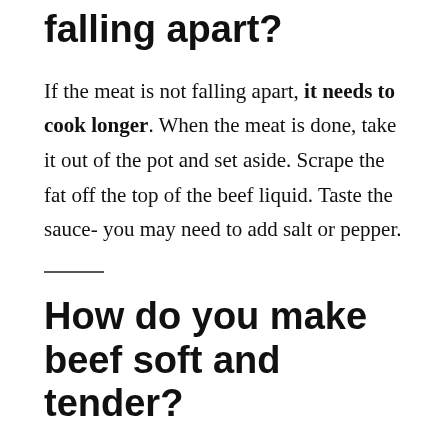falling apart?
If the meat is not falling apart, it needs to cook longer. When the meat is done, take it out of the pot and set aside. Scrape the fat off the top of the beef liquid. Taste the sauce- you may need to add salt or pepper.
How do you make beef soft and tender?